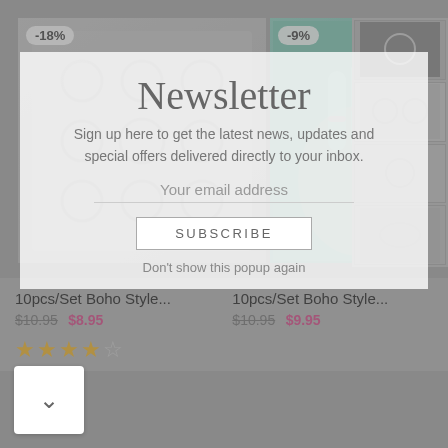[Figure (screenshot): E-commerce product listing page showing boho style ring sets with discount badges (-18% and -9%). Background shows two product images of silver ring sets, one with a hand model with teal nails.]
Newsletter
Sign up here to get the latest news, updates and special offers delivered directly to your inbox.
Your email address
SUBSCRIBE
10pcs/Set Boho Style...
10pcs/Set Boho Style...
$10.95  $8.95
$10.95  $9.95
Don't show this popup again